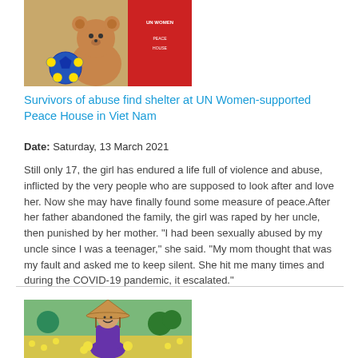[Figure (photo): Teddy bear and soccer ball in front of a red banner with UN Women logo]
Survivors of abuse find shelter at UN Women-supported Peace House in Viet Nam
Date: Saturday, 13 March 2021
Still only 17, the girl has endured a life full of violence and abuse, inflicted by the very people who are supposed to look after and love her. Now she may have finally found some measure of peace.After her father abandoned the family, the girl was raped by her uncle, then punished by her mother. "I had been sexually abused by my uncle since I was a teenager," she said. "My mom thought that was my fault and asked me to keep silent. She hit me many times and during the COVID-19 pandemic, it escalated."
[Figure (photo): Woman wearing traditional Vietnamese conical hat and purple ao dai, smiling and holding yellow flowers in a field]